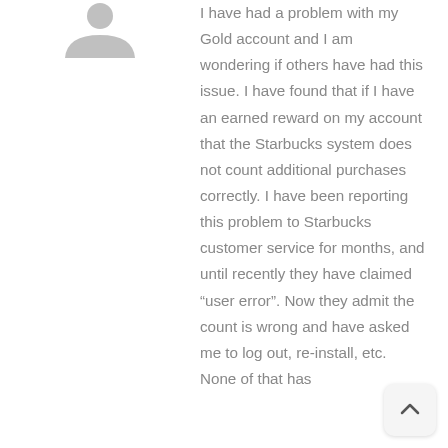[Figure (illustration): Gray user avatar icon showing a person silhouette (head and shoulders), top-left area of page]
I have had a problem with my Gold account and I am wondering if others have had this issue. I have found that if I have an earned reward on my account that the Starbucks system does not count additional purchases correctly. I have been reporting this problem to Starbucks customer service for months, and until recently they have claimed “user error”. Now they admit the count is wrong and have asked me to log out, re-install, etc. None of that has